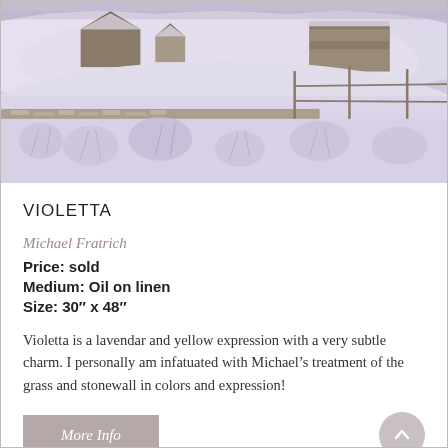[Figure (photo): Winter landscape painting showing snow-covered field with wooden farm buildings and barns in the background, a stone wall and wooden fence in the middle ground, and frosted grasses in the foreground. The scene has a lavender and purple-tinged light.]
VIOLETTA
Michael Fratrich
Price: sold
Medium: Oil on linen
Size: 30" x 48"
Violetta is a lavendar and yellow expression with a very subtle charm. I personally am infatuated with Michael's treatment of the grass and stonewall in colors and expression!
More Info